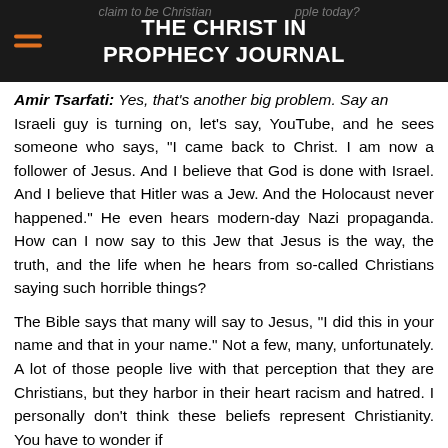THE CHRIST IN PROPHECY JOURNAL
Amir Tsarfati: Yes, that's another big problem. Say an Israeli guy is turning on, let's say, YouTube, and he sees someone who says, “I came back to Christ. I am now a follower of Jesus. And I believe that God is done with Israel. And I believe that Hitler was a Jew. And the Holocaust never happened.” He even hears modern-day Nazi propaganda. How can I now say to this Jew that Jesus is the way, the truth, and the life when he hears from so-called Christians saying such horrible things?
The Bible says that many will say to Jesus, “I did this in your name and that in your name.” Not a few, many, unfortunately. A lot of those people live with that perception that they are Christians, but they harbor in their heart racism and hatred. I personally don’t think these beliefs represent Christianity. You have to wonder if